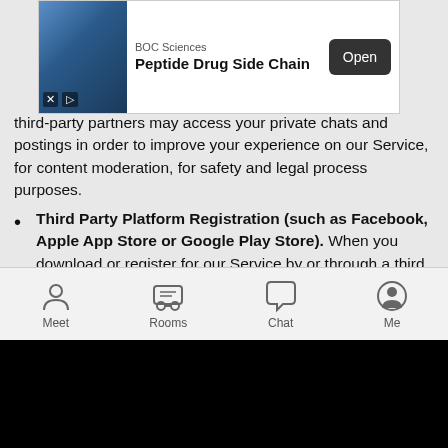[Figure (screenshot): Advertisement banner for BOC Sciences Peptide Drug Side Chain with Open button]
third-party partners may access your private chats and postings in order to improve your experience on our Service, for content moderation, for safety and legal process purposes.
Third Party Platform Registration (such as Facebook, Apple App Store or Google Play Store). When you download or register for our Service by or through a third party platform we may also access and/or collect certain information from your third party platform account or by cookies placed on your device by such third party site. For example, if you create your account on our Service using Facebook, we may use the following information from Facebook to establish your account: your email address, hometown, gender, profile photo, date of birth, friends list and userID. In addition, in the course of providing our Service on third party platforms, such as the Apple App Store or the Google Play Store, the platforms may collect information about you or receive information from us in order for that platform to provide and analyze their services. Please note that these
[Figure (screenshot): Mobile app bottom navigation bar with Meet, Rooms, Chat, Me icons]